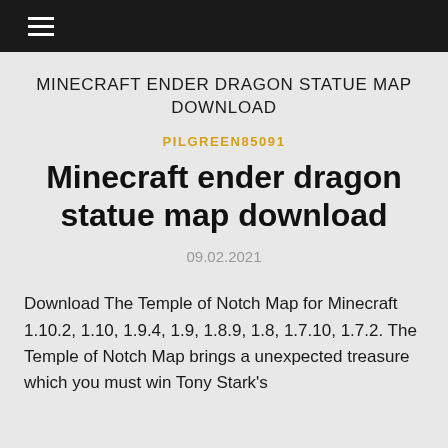≡
MINECRAFT ENDER DRAGON STATUE MAP DOWNLOAD
PILGREEN85091
Minecraft ender dragon statue map download
09.02.2021
Download The Temple of Notch Map for Minecraft 1.10.2, 1.10, 1.9.4, 1.9, 1.8.9, 1.8, 1.7.10, 1.7.2. The Temple of Notch Map brings a unexpected treasure which you must win Tony Stark's